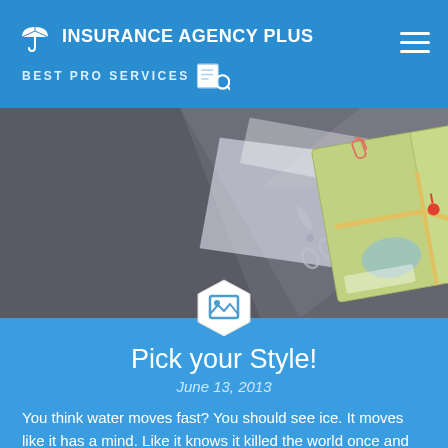INSURANCE AGENCY PLUS | BEST PRO SERVICES
[Figure (illustration): Hero image showing a folded map illustration with route markers on a dark geometric background, with scissors and paperclip decorative elements.]
Pick your Style!
June 13, 2013
You think water moves fast? You should see ice. It moves like it has a mind. Like it knows it killed the world once and got a taste for murder. After the avalanche, it took us a week to climb out. Now, I don't know exactly when we turned on each other, but I know that seven of us